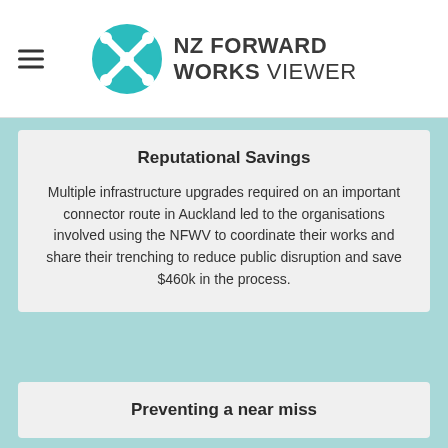NZ FORWARD WORKS VIEWER
Reputational Savings
Multiple infrastructure upgrades required on an important connector route in Auckland led to the organisations involved using the NFWV to coordinate their works and share their trenching to reduce public disruption and save $460k in the process.
Preventing a near miss